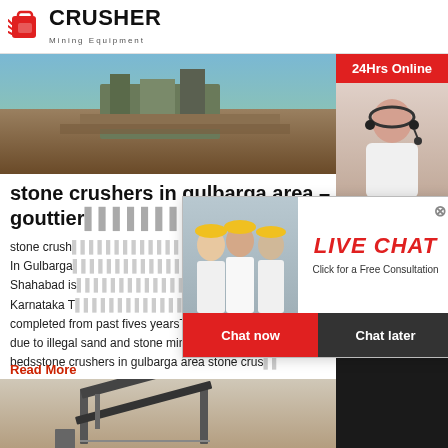[Figure (logo): Crusher Mining Equipment logo with red shopping bag icon and bold CRUSHER text]
[Figure (photo): Stone crusher mining equipment at a quarry site]
stone crushers in gulbarga area – gouttier...
stone crush... In Gulbarga... Shahabad is... Karnataka T... completed from past fives yearsThis river Kagin... due to illegal sand and stone mining on the river... bedsstone crushers in gulbarga area stone crus...
Read More
[Figure (photo): Conveyor belt structure at mining site]
[Figure (screenshot): Live Chat popup overlay with workers photo, LIVE CHAT title, Chat now and Chat later buttons]
[Figure (photo): Right sidebar with 24Hrs Online, customer service agent photo, Need questions & suggestion, Chat Now button, Enquiry, limingjlmofen@sina.com]